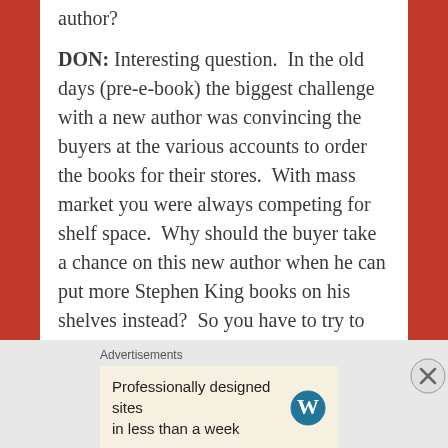author?
DON: Interesting question.  In the old days (pre-e-book) the biggest challenge with a new author was convincing the buyers at the various accounts to order the books for their stores.  With mass market you were always competing for shelf space.  Why should the buyer take a chance on this new author when he can put more Stephen King books on his shelves instead?  So you have to try to show that this new author has potential and if the buyer would only give
Advertisements
Professionally designed sites in less than a week